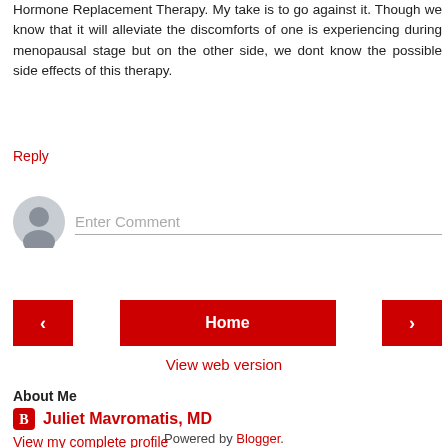Hormone Replacement Therapy. My take is to go against it. Though we know that it will alleviate the discomforts of one is experiencing during menopausal stage but on the other side, we dont know the possible side effects of this therapy.
Reply
[Figure (other): Comment input area with user avatar circle and 'Enter Comment' placeholder text field]
Home
View web version
About Me
Juliet Mavromatis, MD
View my complete profile
Powered by Blogger.